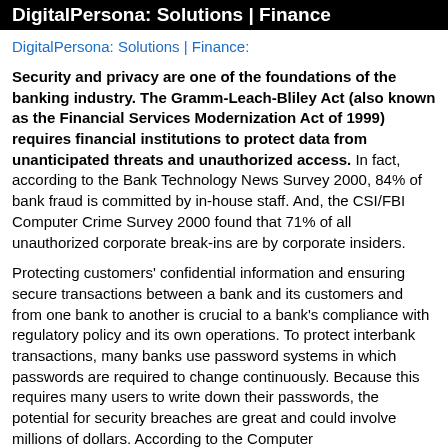DigitalPersona: Solutions | Finance
DigitalPersona: Solutions | Finance:
Security and privacy are one of the foundations of the banking industry. The Gramm-Leach-Bliley Act (also known as the Financial Services Modernization Act of 1999) requires financial institutions to protect data from unanticipated threats and unauthorized access. In fact, according to the Bank Technology News Survey 2000, 84% of bank fraud is committed by in-house staff. And, the CSI/FBI Computer Crime Survey 2000 found that 71% of all unauthorized corporate break-ins are by corporate insiders.
Protecting customers' confidential information and ensuring secure transactions between a bank and its customers and from one bank to another is crucial to a bank's compliance with regulatory policy and its own operations. To protect interbank transactions, many banks use password systems in which passwords are required to change continuously. Because this requires many users to write down their passwords, the potential for security breaches are great and could involve millions of dollars. According to the Computer